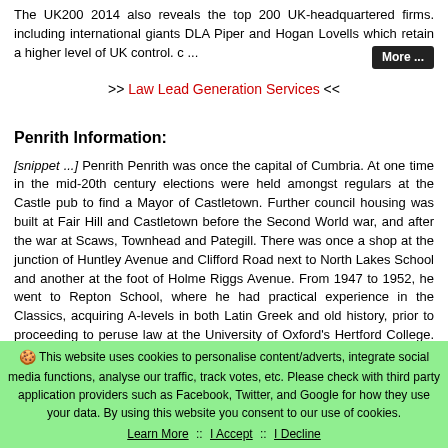The UK200 2014 also reveals the top 200 UK-headquartered firms. including international giants DLA Piper and Hogan Lovells which retain a higher level of UK control. c ...  More ...
>> Law Lead Generation Services <<
Penrith Information:
[snippet ...] Penrith Penrith was once the capital of Cumbria. At one time in the mid-20th century elections were held amongst regulars at the Castle pub to find a Mayor of Castletown. Further council housing was built at Fair Hill and Castletown before the Second World war, and after the war at Scaws, Townhead and Pategill. There was once a shop at the junction of Huntley Avenue and Clifford Road next to North Lakes School and another at the foot of Holme Riggs Avenue. From 1947 to 1952, he went to Repton School, where he had practical experience in the Classics, acquiring A-levels in both Latin Greek and old history, prior to proceeding to peruse law at the University of Oxford's Hertford College. Beaconside Infants and Junior Schools are situated
This website uses cookies to personalise content/adverts, integrate social media functions, analyse our traffic, track votes, etc. Please check with third party application providers such as Facebook, Twitter, and Google for how they use your data. By using this website you consent to our use of cookies. Learn More :: I Accept :: I Decline